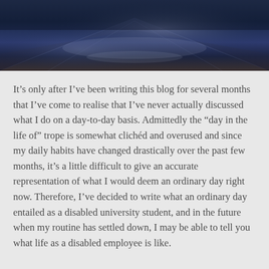[Figure (photo): Dark blue-toned photograph showing a hallway or corridor floor, appearing to be taken at a low angle with blurred motion, in a blue/dark monochrome filter]
It's only after I've been writing this blog for several months that I've come to realise that I've never actually discussed what I do on a day-to-day basis. Admittedly the “day in the life of” trope is somewhat clichéd and overused and since my daily habits have changed drastically over the past few months, it's a little difficult to give an accurate representation of what I would deem an ordinary day right now. Therefore, I've decided to write what an ordinary day entailed as a disabled university student, and in the future when my routine has settled down, I may be able to tell you what life as a disabled employee is like.